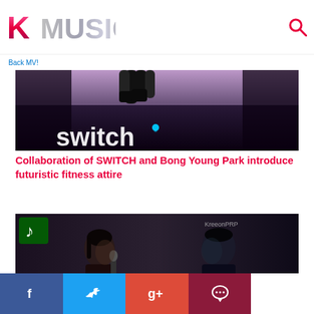KMusic
Back MV!
[Figure (screenshot): Dark image showing legs upside down near ceiling with 'switch' text at bottom in white, purple-tinted scene]
Collaboration of SWITCH and Bong Young Park introduce futuristic fitness attire
[Figure (screenshot): Two people facing each other in dark setting, one holding a microphone, kpop performance or interview scene. KreedPRP watermark visible top right.]
Facebook Twitter Google+ Comments